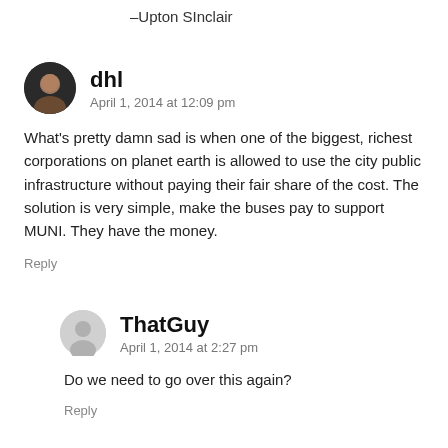–Upton SInclair
dhl
April 1, 2014 at 12:09 pm
What's pretty damn sad is when one of the biggest, richest corporations on planet earth is allowed to use the city public infrastructure without paying their fair share of the cost. The solution is very simple, make the buses pay to support MUNI. They have the money.
Reply
ThatGuy
April 1, 2014 at 2:27 pm
Do we need to go over this again?
Reply